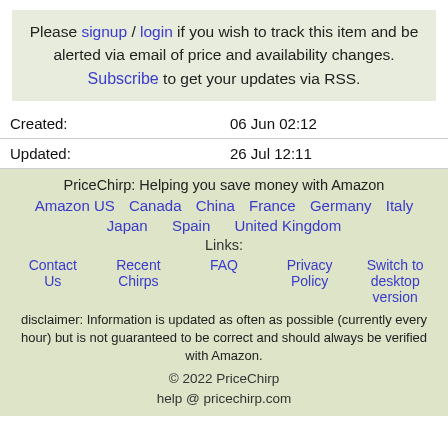Please signup / login if you wish to track this item and be alerted via email of price and availability changes. Subscribe to get your updates via RSS.
| Created: | 06 Jun 02:12 |
| Updated: | 26 Jul 12:11 |
PriceChirp: Helping you save money with Amazon
Amazon US  Canada  China  France  Germany  Italy  Japan  Spain  United Kingdom
Links:
Contact Us  Recent Chirps  FAQ  Privacy Policy  Switch to desktop version
disclaimer: Information is updated as often as possible (currently every hour) but is not guaranteed to be correct and should always be verified with Amazon.
© 2022 PriceChirp
help @ pricechirp.com